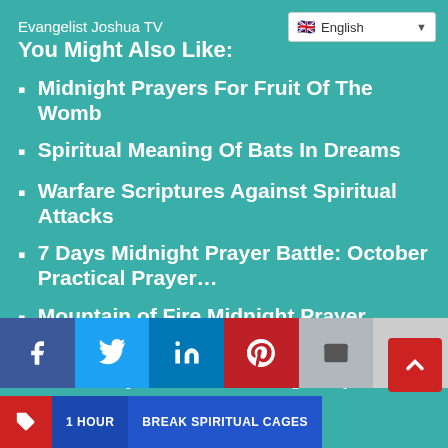Evangelist Joshua TV
You Might Also Like:
[Figure (screenshot): Language selector dropdown showing English with UK flag]
Midnight Prayers For Fruit Of The Womb
Spiritual Meaning Of Bats In Dreams
Warfare Scriptures Against Spiritual Attacks
7 Days Midnight Prayer Battle: October Practical Prayer...
Mountain of Fire Midnight Prayer Points
MFM Prayers For Wedding Preparation
[Figure (screenshot): Social sharing bar with Facebook, Twitter, LinkedIn, Pinterest, Email, and Print buttons, and a back-to-top red arrow button]
[Figure (screenshot): Bottom tag bar with red tag icon, blue '1 HOUR' button, and blue 'BREAK SPIRITUAL CAGES' button]